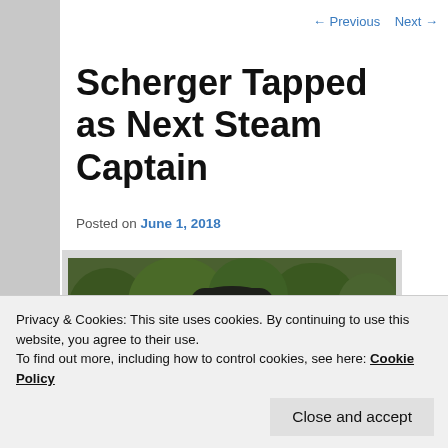← Previous   Next →
Scherger Tapped as Next Steam Captain
Posted on June 1, 2018
[Figure (photo): A person wearing a dark baseball cap with a star/asterisk logo, standing outdoors in front of trees]
Privacy & Cookies: This site uses cookies. By continuing to use this website, you agree to their use.
To find out more, including how to control cookies, see here: Cookie Policy
Close and accept